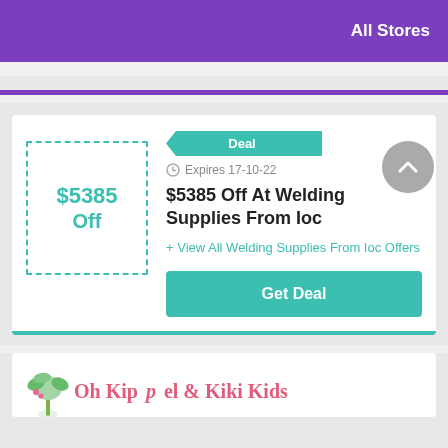All Stores
$5385 Off
Deal
Expires 17-10-22
$5385 Off At Welding Supplies From Ioc
+ View All Welding Supplies From Ioc Offers
Get Deal
[Figure (illustration): Partial logo with palm tree and brand text at bottom]